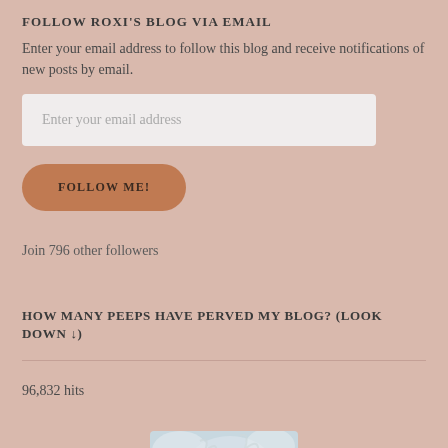FOLLOW ROXI'S BLOG VIA EMAIL
Enter your email address to follow this blog and receive notifications of new posts by email.
Enter your email address
FOLLOW ME!
Join 796 other followers
HOW MANY PEEPS HAVE PERVED MY BLOG? (LOOK DOWN ↓)
96,832 hits
[Figure (photo): Partial view of a photo showing a blue bird among misty or smoky white branches/background]